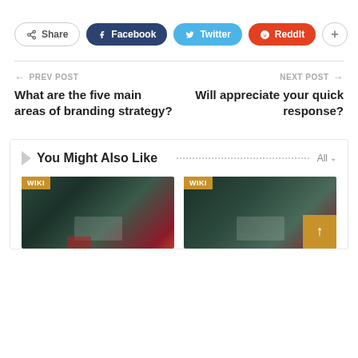[Figure (other): Social share buttons: Share, Facebook, Twitter, Reddit, plus button]
← PREV POST
What are the five main areas of branding strategy?
NEXT POST →
Will appreciate your quick response?
You Might Also Like
[Figure (photo): WIKI badge with dark background photo - left card]
[Figure (photo): WIKI badge with dark background photo - right card]